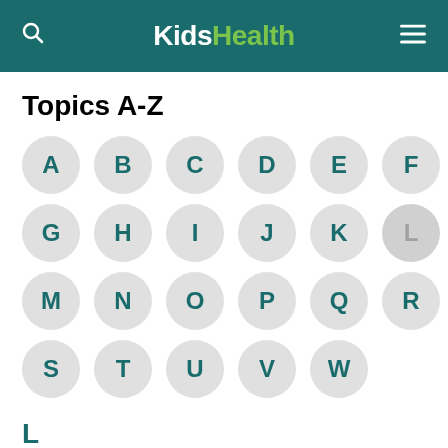KidsHealth
Topics A-Z
[Figure (other): Alphabet navigation grid with circular letter buttons A-Z (excluding X, Y, Z). Letters A-K, M-W shown as teal circles on light gray background. L shown as inactive/gray circle. Grid arranged in 4 rows of 6, 6, 6, 5 letters.]
L